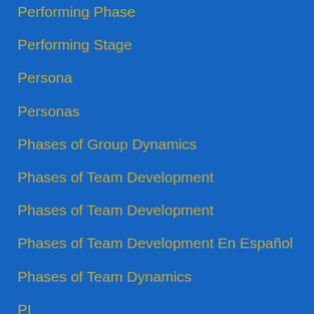Performing Phase
Performing Stage
Persona
Personas
Phases of Group Dynamics
Phases of Team Development
Phases of Team Development
Phases of Team Development En Español
Phases of Team Dynamics
PI